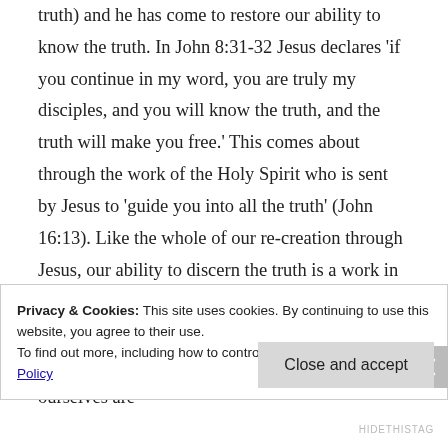truth) and he has come to restore our ability to know the truth. In John 8:31-32 Jesus declares 'if you continue in my word, you are truly my disciples, and you will know the truth, and the truth will make you free.' This comes about through the work of the Holy Spirit who is sent by Jesus to 'guide you into all the truth' (John 16:13). Like the whole of our re-creation through Jesus, our ability to discern the truth is a work in progress. At the moment 'our knowledge is imperfect' (1 Corinthians 13:9) but in heaven we shall understand fully in the same way that we ourselves are
Privacy & Cookies: This site uses cookies. By continuing to use this website, you agree to their use.
To find out more, including how to control cookies, see here: Cookie Policy
Close and accept
HIDETHISTAG